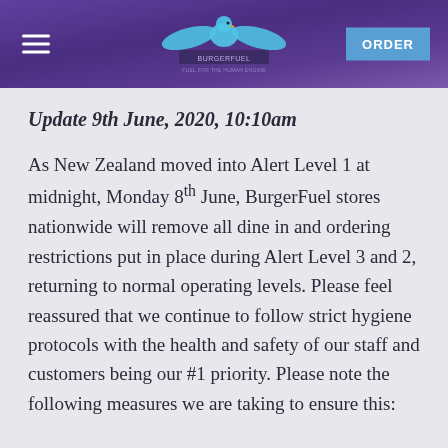BurgerFuel navigation header with logo and ORDER button
Update 9th June, 2020, 10:10am
As New Zealand moved into Alert Level 1 at midnight, Monday 8th June, BurgerFuel stores nationwide will remove all dine in and ordering restrictions put in place during Alert Level 3 and 2, returning to normal operating levels. Please feel reassured that we continue to follow strict hygiene protocols with the health and safety of our staff and customers being our #1 priority. Please note the following measures we are taking to ensure this: